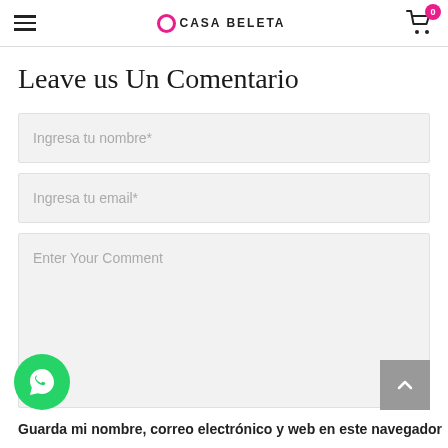CASA BELETA
Leave us Un Comentario
Ingresa tu nombre*
Ingresa tu email*
Enter Your Comment
Guarda mi nombre, correo electrónico y web en este navegador